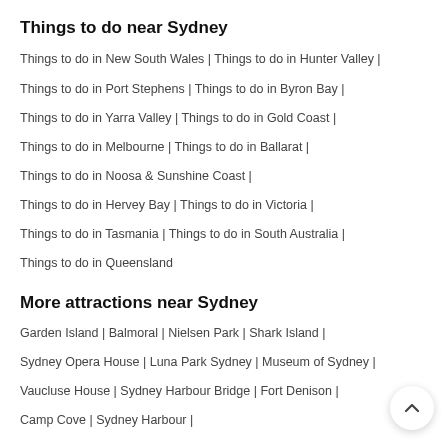Things to do near Sydney
Things to do in New South Wales | Things to do in Hunter Valley |
Things to do in Port Stephens | Things to do in Byron Bay |
Things to do in Yarra Valley | Things to do in Gold Coast |
Things to do in Melbourne | Things to do in Ballarat |
Things to do in Noosa & Sunshine Coast |
Things to do in Hervey Bay | Things to do in Victoria |
Things to do in Tasmania | Things to do in South Australia |
Things to do in Queensland
More attractions near Sydney
Garden Island | Balmoral | Nielsen Park | Shark Island |
Sydney Opera House | Luna Park Sydney | Museum of Sydney |
Vaucluse House | Sydney Harbour Bridge | Fort Denison |
Camp Cove | Sydney Harbour |